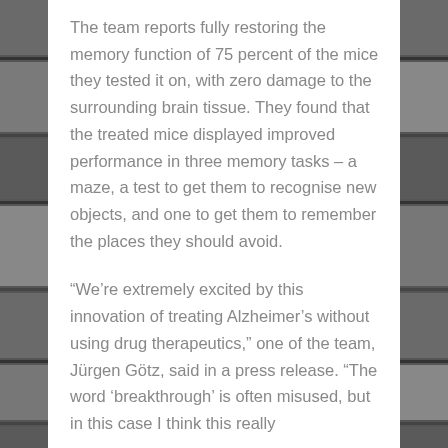[Figure (photo): Black and white photo collage strips on left and right sides of the page]
The team reports fully restoring the memory function of 75 percent of the mice they tested it on, with zero damage to the surrounding brain tissue. They found that the treated mice displayed improved performance in three memory tasks – a maze, a test to get them to recognise new objects, and one to get them to remember the places they should avoid.
“We’re extremely excited by this innovation of treating Alzheimer’s without using drug therapeutics,” one of the team, Jürgen Götz, said in a press release. “The word ‘breakthrough’ is often misused, but in this case I think this really...